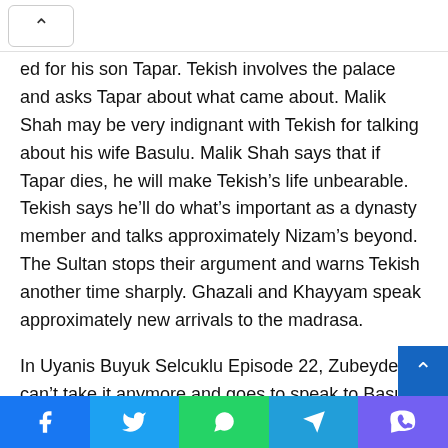ed for his son Tapar. Tekish involves the palace and asks Tapar about what came about. Malik Shah may be very indignant with Tekish for talking about his wife Basulu. Malik Shah says that if Tapar dies, he will make Tekish’s life unbearable. Tekish says he’ll do what’s important as a dynasty member and talks approximately Nizam’s beyond. The Sultan stops their argument and warns Tekish another time sharply. Ghazali and Khayyam speak approximately new arrivals to the madrasa.
In Uyanis Buyuk Selcuklu Episode 22, Zubeyde can’t take it anymore and goes to speak to Basulu. Malik Shah talks to Khayyam and asks him to make a
Facebook | Twitter | WhatsApp | Telegram | Viber